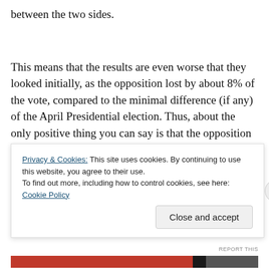between the two sides.
This means that the results are even worse that they looked initially, as the opposition lost by about 8% of the vote, compared to the minimal difference (if any) of the April Presidential election. Thus, about the only positive thing you can say is that the opposition managed to win the more “emblematic” races, including most large cities
Privacy & Cookies: This site uses cookies. By continuing to use this website, you agree to their use.
To find out more, including how to control cookies, see here: Cookie Policy
Close and accept